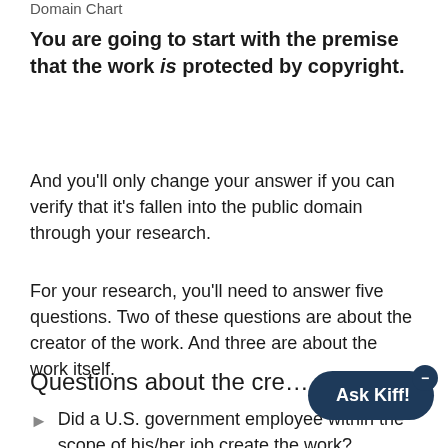Domain Chart
You are going to start with the premise that the work is protected by copyright.
And you'll only change your answer if you can verify that it's fallen into the public domain through your research.
For your research, you'll need to answer five questions. Two of these questions are about the creator of the work. And three are about the work itself.
Questions about the cre…
Did a U.S. government employee within the scope of his/her job create the work?